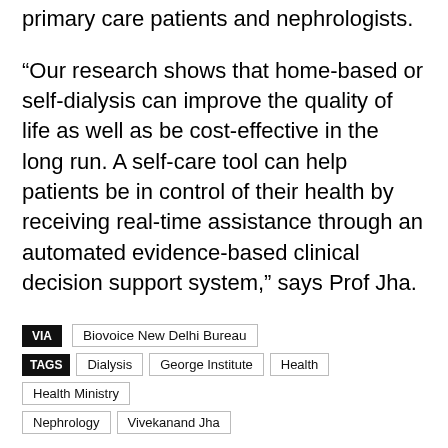primary care patients and nephrologists.
“Our research shows that home-based or self-dialysis can improve the quality of life as well as be cost-effective in the long run. A self-care tool can help patients be in control of their health by receiving real-time assistance through an automated evidence-based clinical decision support system,” says Prof Jha.
VIA  Biovoice New Delhi Bureau
TAGS  Dialysis  George Institute  Health  Health Ministry  Nephrology  Vivekanand Jha